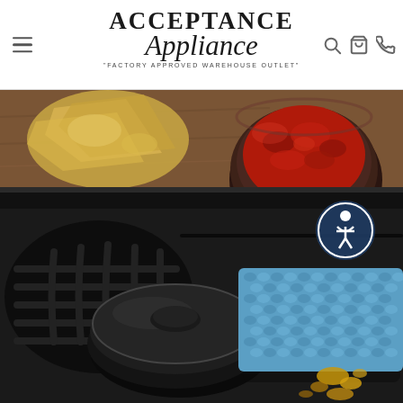Acceptance Appliance - Factory Approved Warehouse Outlet
[Figure (photo): Close-up photo of a black gas stovetop/cooktop with a cast iron burner grate and cylindrical burner cap. A blue knitted pot holder/oven mitt is placed on the cooktop surface. In the background, there is a bowl of red salsa and tortilla chips on a wooden cutting board. A small accessibility icon button (person in circle) is overlaid on the image.]